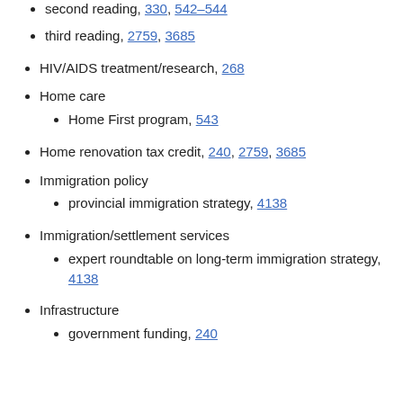second reading, 330, 542–544
third reading, 2759, 3685
HIV/AIDS treatment/research, 268
Home care
Home First program, 543
Home renovation tax credit, 240, 2759, 3685
Immigration policy
provincial immigration strategy, 4138
Immigration/settlement services
expert roundtable on long-term immigration strategy, 4138
Infrastructure
government funding, 240